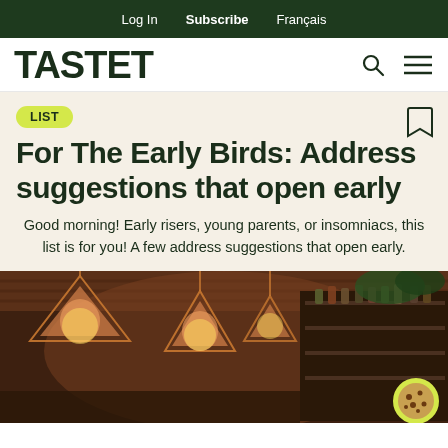Log In  Subscribe  Français
TASTET
LIST
For The Early Birds: Address suggestions that open early
Good morning! Early risers, young parents, or insomniacs, this list is for you! A few address suggestions that open early.
[Figure (photo): Interior of a bar/restaurant with warm lighting, geometric pendant lamps, bottles on shelves, wooden ceiling]